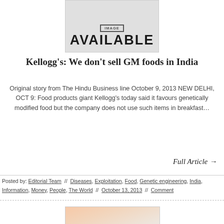[Figure (illustration): Gray box with 'AVAILABLE' text in large bold letters and a smaller bordered label above it]
Kellogg’s: We don’t sell GM foods in India
Original story from The Hindu Business line October 9, 2013 NEW DELHI, OCT 9: Food products giant Kellogg’s today said it favours genetically modified food but the company does not use such items in breakfast…
Full Article →
Posted by: Editorial Team // Diseases, Exploitation, Food, Genetic engineering, India, Information, Money, People, The World // October 13, 2013 // Comment
[Figure (photo): Partial photo of food items with warm peach/cream tones, partially visible at bottom of page]